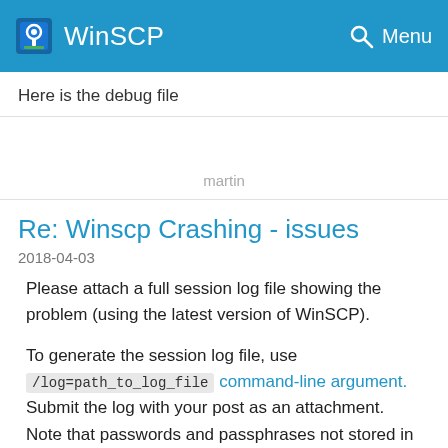WinSCP  Menu
Here is the debug file
martin
Re: Winscp Crashing - issues
2018-04-03
Please attach a full session log file showing the problem (using the latest version of WinSCP).
To generate the session log file, use /log=path_to_log_file command-line argument. Submit the log with your post as an attachment. Note that passwords and passphrases not stored in the log. You may want to remove other data you consider sensitive though, such as host names, IP addresses, account names or file names (unless they are relevant to the